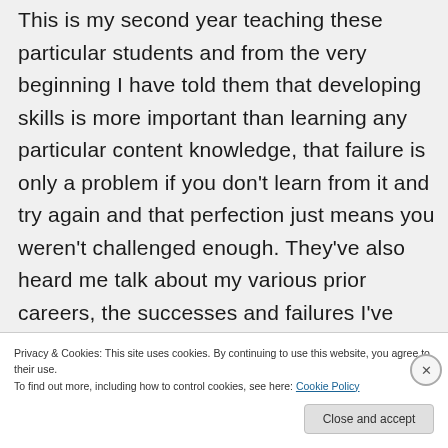This is my second year teaching these particular students and from the very beginning I have told them that developing skills is more important than learning any particular content knowledge, that failure is only a problem if you don't learn from it and try again and that perfection just means you weren't challenged enough. They've also heard me talk about my various prior careers, the successes and failures I've had, and what I've learned in the process.
Privacy & Cookies: This site uses cookies. By continuing to use this website, you agree to their use. To find out more, including how to control cookies, see here: Cookie Policy
Close and accept